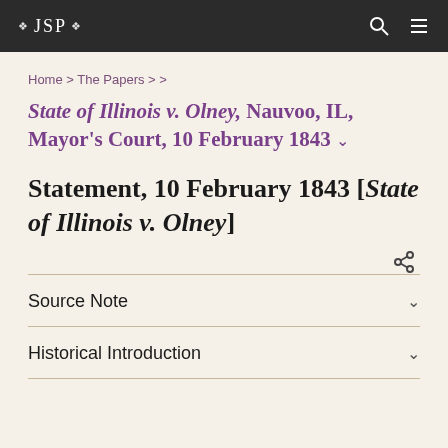❖ JSP ❖
Home > The Papers > >
State of Illinois v. Olney, Nauvoo, IL, Mayor's Court, 10 February 1843
Statement, 10 February 1843 [State of Illinois v. Olney]
Source Note
Historical Introduction